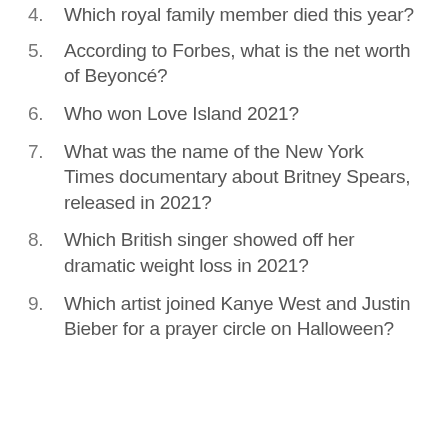4. Which royal family member died this year?
5. According to Forbes, what is the net worth of Beyoncé?
6. Who won Love Island 2021?
7. What was the name of the New York Times documentary about Britney Spears, released in 2021?
8. Which British singer showed off her dramatic weight loss in 2021?
9. Which artist joined Kanye West and Justin Bieber for a prayer circle on Halloween?